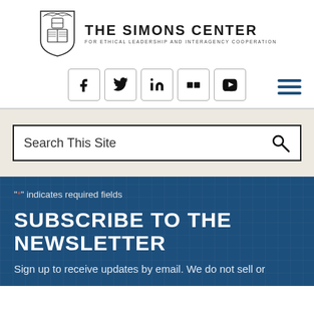[Figure (logo): The Simons Center for Ethical Leadership and Interagency Cooperation logo with shield emblem]
THE SIMONS CENTER FOR ETHICAL LEADERSHIP AND INTERAGENCY COOPERATION
[Figure (infographic): Social media icons: Facebook, Twitter, LinkedIn, Flickr, YouTube and hamburger menu]
Search This Site
"*" indicates required fields
SUBSCRIBE TO THE NEWSLETTER
Sign up to receive updates by email. We do not sell or